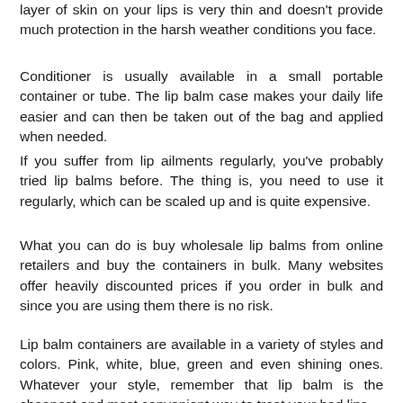layer of skin on your lips is very thin and doesn't provide much protection in the harsh weather conditions you face.
Conditioner is usually available in a small portable container or tube. The lip balm case makes your daily life easier and can then be taken out of the bag and applied when needed.
If you suffer from lip ailments regularly, you've probably tried lip balms before. The thing is, you need to use it regularly, which can be scaled up and is quite expensive.
What you can do is buy wholesale lip balms from online retailers and buy the containers in bulk. Many websites offer heavily discounted prices if you order in bulk and since you are using them there is no risk.
Lip balm containers are available in a variety of styles and colors. Pink, white, blue, green and even shining ones. Whatever your style, remember that lip balm is the cheapest and most convenient way to treat your bad lips.